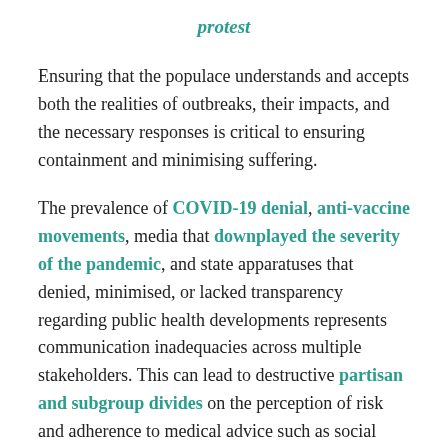protest
Ensuring that the populace understands and accepts both the realities of outbreaks, their impacts, and the necessary responses is critical to ensuring containment and minimising suffering.
The prevalence of COVID-19 denial, anti-vaccine movements, media that downplayed the severity of the pandemic, and state apparatuses that denied, minimised, or lacked transparency regarding public health developments represents communication inadequacies across multiple stakeholders. This can lead to destructive partisan and subgroup divides on the perception of risk and adherence to medical advice such as social distancing, which exacerbates the spread of the virus and places additional strain on healthcare systems. Moreover, if true, allegations of a lack of governmental transparency in the